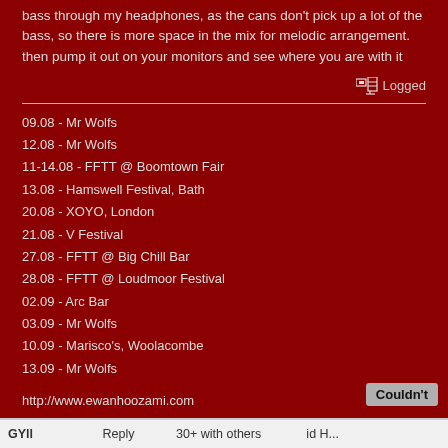bass through my headphones, as the cans don't pick up a lot of the bass, so there is more space in the mix for melodic arrangement. then pump it out on your monitors and see where you are with it
Logged
09.08 - Mr Wolfs
12.08 - Mr Wolfs
11-14.08 - FFTT @ Boomtown Fair
13.08 - Hamswell Festival, Bath
20.08 - XOYO, London
21.08 - V Festival
27.08 - FFTT @ Big Chill Bar
28.08 - FFTT @ Loudmoor Festival
02.09 - Arc Bar
03.09 - Mr Wolfs
10.09 - Marisco's, Woolacombe
13.09 - Mr Wolfs
http://www.ewanhoozami.com
LATEST FREE DOWNLOAD
Ewan Hoozami - Cutty Limb
Couldn't
GYll                    Reply            30+ with others               id H...